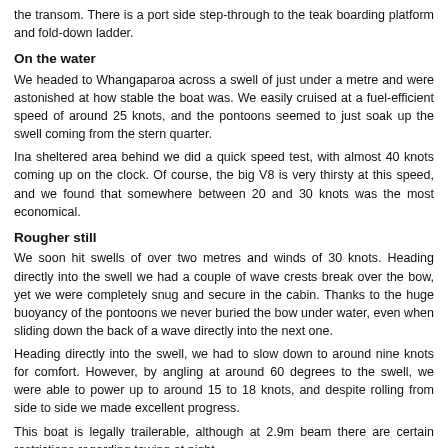the transom. There is a port side step-through to the teak boarding platform and fold-down ladder.
On the water
We headed to Whangaparoa across a swell of just under a metre and were astonished at how stable the boat was. We easily cruised at a fuel-efficient speed of around 25 knots, and the pontoons seemed to just soak up the swell coming from the stern quarter.
Ina sheltered area behind we did a quick speed test, with almost 40 knots coming up on the clock. Of course, the big V8 is very thirsty at this speed, and we found that somewhere between 20 and 30 knots was the most economical.
Rougher still
We soon hit swells of over two metres and winds of 30 knots. Heading directly into the swell we had a couple of wave crests break over the bow, yet we were completely snug and secure in the cabin. Thanks to the huge buoyancy of the pontoons we never buried the bow under water, even when sliding down the back of a wave directly into the next one.
Heading directly into the swell, we had to slow down to around nine knots for comfort. However, by angling at around 60 degrees to the swell, we were able to power up to around 15 to 18 knots, and despite rolling from side to side we made excellent progress.
This boat is legally trailerable, although at 2.9m beam there are certain restrictions regarding towing at night.
Overall
This is a good boat for any serious fisherman who wants to be able to get out there in almost any conditions, and would be perfect for west-coast bar crossings. It is also a superb family boat, safe and stable enough to satisfy even non-boating members of the family. It is comforting to know that the boat can handle extreme conditions, and it is clear why coastguards all around the world favour this style of vessel.